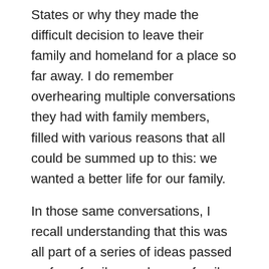States or why they made the difficult decision to leave their family and homeland for a place so far away. I do remember overhearing multiple conversations they had with family members, filled with various reasons that all could be summed up to this: we wanted a better life for our family.
In those same conversations, I recall understanding that this was all part of a series of ideas passed on from family members or family friends about how different life would be in the United States for us. The promise, this strange new place so far away from our home country held and the chance at changing the future for our family, specifically my future and that of my siblings